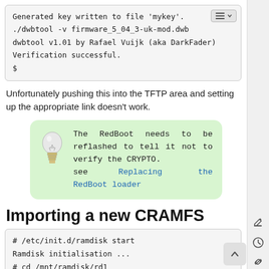[Figure (screenshot): Code block showing terminal output: 'Generated key written to file mykey. ./dwbtool -v firmware_5_04_3-uk-mod.dwb dwbtool v1.01 by Rafael Vuijk (aka DarkFader) Verification successful. $' with a toolbar icon in the top-right corner.]
Unfortunately pushing this into the TFTP area and setting up the appropriate link doesn't work.
[Figure (infographic): Green tip box with a lightbulb icon and text: 'The RedBoot needs to be reflashed to tell it not to verify the CRYPTO. see Replacing the RedBoot loader' (where 'Replacing the RedBoot loader' is a hyperlink in blue).]
Importing a new CRAMFS
[Figure (screenshot): Code block showing terminal commands: '# /etc/init.d/ramdisk start
Ramdisk initialisation ...
# cd /mnt/ramdisk/rd1
# ...' (partially visible)]